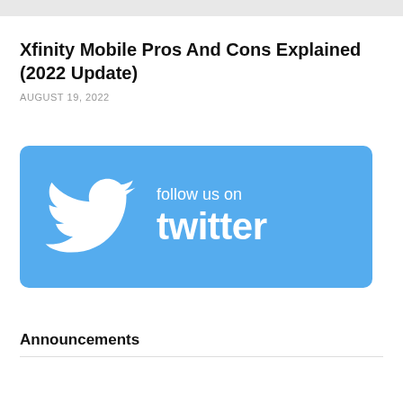Xfinity Mobile Pros And Cons Explained (2022 Update)
AUGUST 19, 2022
[Figure (logo): Follow us on Twitter banner with Twitter bird logo on blue background]
Announcements